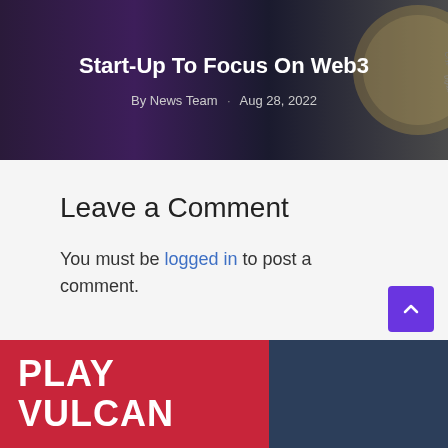[Figure (photo): Dark purple and grey hero image with a gold cryptocurrency coin partially visible on the right side]
Start-Up To Focus On Web3
By News Team · Aug 28, 2022
Leave a Comment
You must be logged in to post a comment.
[Figure (illustration): Bottom banner split into red section with text PLAY VULCAN and dark navy section]